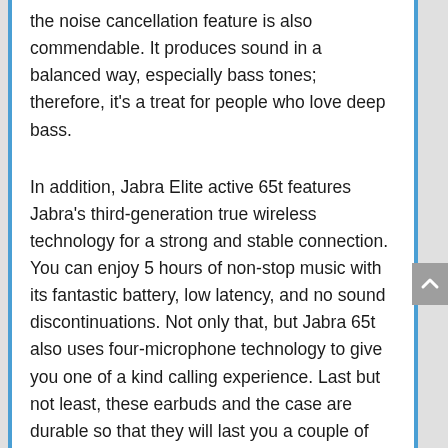the noise cancellation feature is also commendable. It produces sound in a balanced way, especially bass tones; therefore, it's a treat for people who love deep bass.
In addition, Jabra Elite active 65t features Jabra's third-generation true wireless technology for a strong and stable connection. You can enjoy 5 hours of non-stop music with its fantastic battery, low latency, and no sound discontinuations. Not only that, but Jabra 65t also uses four-microphone technology to give you one of a kind calling experience. Last but not least, these earbuds and the case are durable so that they will last you a couple of years.
Overall, Jabra Elite Active 65t is a fantastic pair of